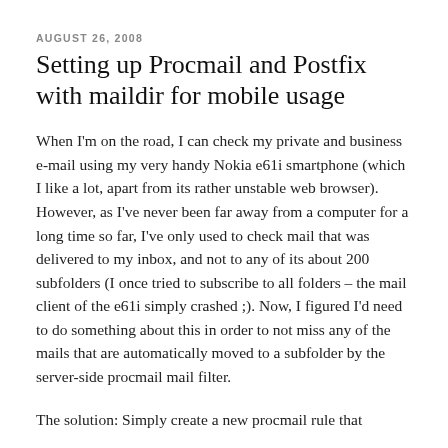AUGUST 26, 2008
Setting up Procmail and Postfix with maildir for mobile usage
When I'm on the road, I can check my private and business e-mail using my very handy Nokia e61i smartphone (which I like a lot, apart from its rather unstable web browser). However, as I've never been far away from a computer for a long time so far, I've only used to check mail that was delivered to my inbox, and not to any of its about 200 subfolders (I once tried to subscribe to all folders – the mail client of the e61i simply crashed ;). Now, I figured I'd need to do something about this in order to not miss any of the mails that are automatically moved to a subfolder by the server-side procmail mail filter.
The solution: Simply create a new procmail rule that